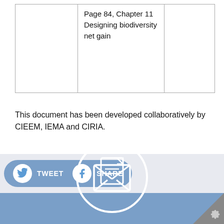|  | Page 84, Chapter 11 Designing biodiversity net gain |  |
This document has been developed collaboratively by CIEEM, IEMA and CIRIA.
[Figure (infographic): Social sharing bar with Twitter (TWEET) and Facebook (SHARE) buttons on a light grey background, followed by a blue section with a large envelope/email icon in a white circle, and a gear icon in a dark grey triangle corner.]